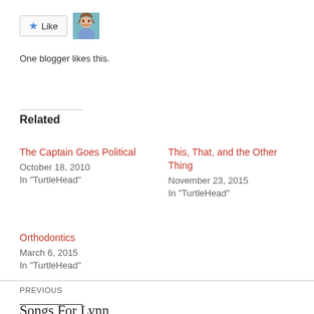[Figure (other): Facebook-style Like button with star icon and a blogger avatar thumbnail]
One blogger likes this.
Related
The Captain Goes Political
October 18, 2010
In "TurtleHead"
This, That, and the Other Thing
November 23, 2015
In "TurtleHead"
Orthodontics
March 6, 2015
In "TurtleHead"
PREVIOUS
Songs For Lynn